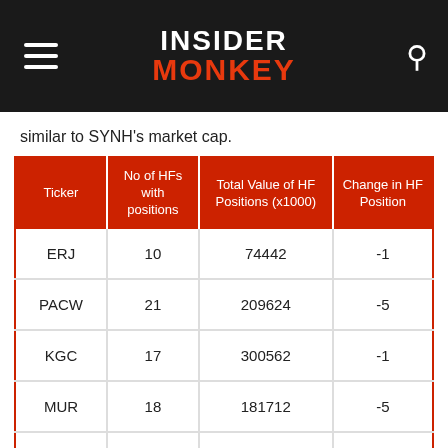INSIDER MONKEY
similar to SYNH's market cap.
| Ticker | No of HFs with positions | Total Value of HF Positions (x1000) | Change in HF Position |
| --- | --- | --- | --- |
| ERJ | 10 | 74442 | -1 |
| PACW | 21 | 209624 | -5 |
| KGC | 17 | 300562 | -1 |
| MUR | 18 | 181712 | -5 |
| Average | 16.5 | 191585 | -3 |